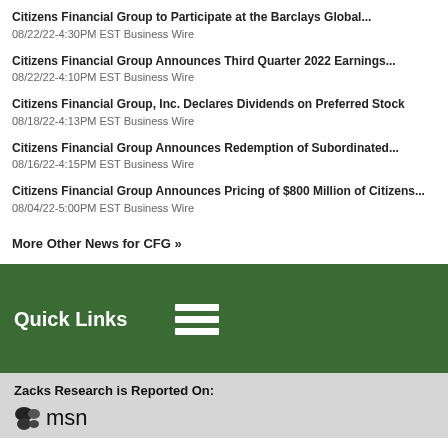Citizens Financial Group to Participate at the Barclays Global... 08/22/22-4:30PM EST Business Wire
Citizens Financial Group Announces Third Quarter 2022 Earnings... 08/22/22-4:10PM EST Business Wire
Citizens Financial Group, Inc. Declares Dividends on Preferred Stock 08/18/22-4:13PM EST Business Wire
Citizens Financial Group Announces Redemption of Subordinated... 08/16/22-4:15PM EST Business Wire
Citizens Financial Group Announces Pricing of $800 Million of Citizens... 08/04/22-5:00PM EST Business Wire
More Other News for CFG »
Quick Links
Zacks Research is Reported On:
[Figure (logo): MSN logo with butterfly icon and 'msn' text]